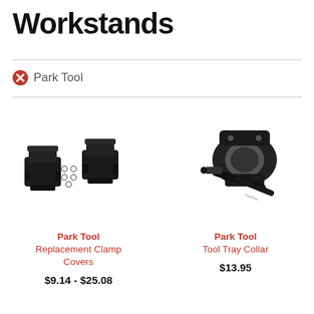Workstands
Park Tool
[Figure (photo): Park Tool Replacement Clamp Covers - two black clamp cover pieces with small screws/rings shown on white background]
Park Tool
Replacement Clamp Covers
$9.14 - $25.08
[Figure (photo): Park Tool Tool Tray Collar - black metal collar clamp with quick-release lever on white background]
Park Tool
Tool Tray Collar
$13.95